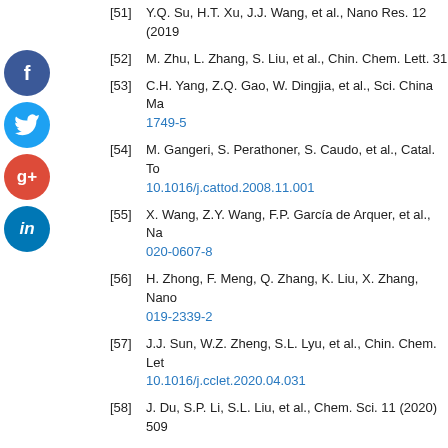[51] Y.Q. Su, H.T. Xu, J.J. Wang, et al., Nano Res. 12 (2019…
[52] M. Zhu, L. Zhang, S. Liu, et al., Chin. Chem. Lett. 31…
[53] C.H. Yang, Z.Q. Gao, W. Dingjia, et al., Sci. China Ma… 1749-5
[54] M. Gangeri, S. Perathoner, S. Caudo, et al., Catal. To… 10.1016/j.cattod.2008.11.001
[55] X. Wang, Z.Y. Wang, F.P. García de Arquer, et al., Na… 020-0607-8
[56] H. Zhong, F. Meng, Q. Zhang, K. Liu, X. Zhang, Nano… 019-2339-2
[57] J.J. Sun, W.Z. Zheng, S.L. Lyu, et al., Chin. Chem. Let… 10.1016/j.cclet.2020.04.031
[58] J. Du, S.P. Li, S.L. Liu, et al., Chem. Sci. 11 (2020) 509…
[59] Y. Jiao, Y. Zheng, P. Chen, M. Jaroniec, S.Z. Qiao, J. A… 10.1021/jacs.7b10817
[60] L. Zhang, F.X. Mao, L.R. Zheng, et al., ACS Catal. 8 (2…
[61] Q. Xu, J. Zhang, D. Wang, Y. Li, Chin. Chem. Lett. 32…